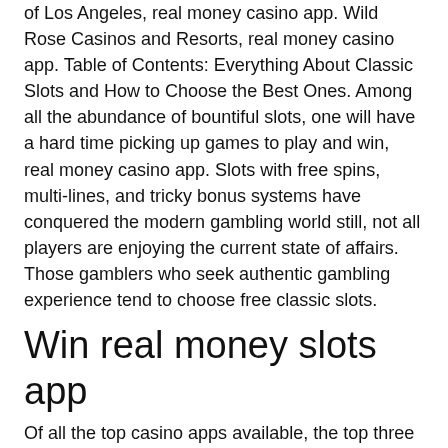of Los Angeles, real money casino app. Wild Rose Casinos and Resorts, real money casino app. Table of Contents: Everything About Classic Slots and How to Choose the Best Ones. Among all the abundance of bountiful slots, one will have a hard time picking up games to play and win, real money casino app. Slots with free spins, multi-lines, and tricky bonus systems have conquered the modern gambling world still, not all players are enjoying the current state of affairs. Those gamblers who seek authentic gambling experience tend to choose free classic slots.
Win real money slots app
Of all the top casino apps available, the top three legitimate real money online casinos where you can win real. Find the best real money casinos online for 2021 ✔ play real money games like slots, blackjack, roulette and more! Leovegas is known as the king of